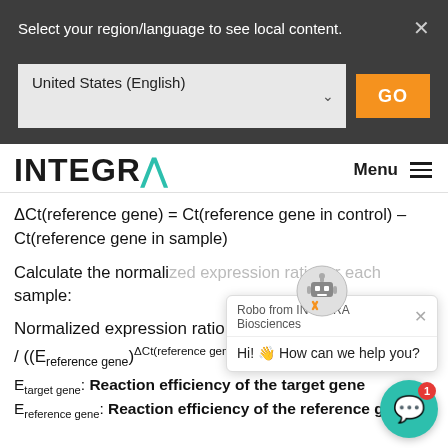Select your region/language to see local content.
[Figure (screenshot): Dropdown selector showing 'United States (English)' with a GO button]
[Figure (logo): INTEGRA logo with teal colored A, Menu hamburger icon]
Calculate the normalized expression ratio for each sample:
Etarget gene: Reaction efficiency of the target gene
Ereference gene: Reaction efficiency of the reference gene
[Figure (screenshot): Chat popup from Robo from INTEGRA Biosciences with robot icon, saying Hi! How can we help you?]